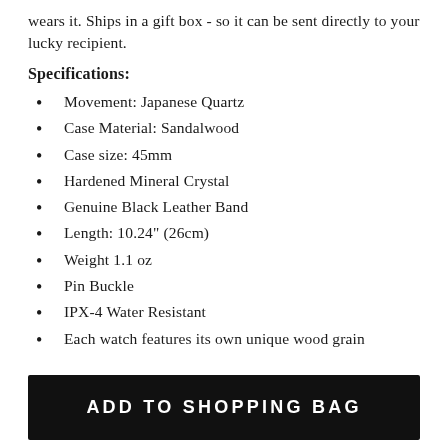wears it. Ships in a gift box - so it can be sent directly to your lucky recipient.
Specifications:
Movement: Japanese Quartz
Case Material: Sandalwood
Case size: 45mm
Hardened Mineral Crystal
Genuine Black Leather Band
Length: 10.24" (26cm)
Weight 1.1 oz
Pin Buckle
IPX-4 Water Resistant
Each watch features its own unique wood grain
ADD TO SHOPPING BAG